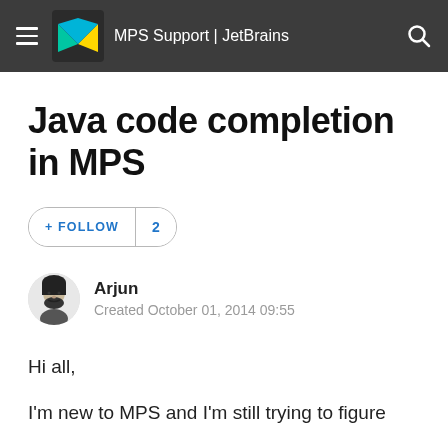MPS Support | JetBrains
Java code completion in MPS
+ FOLLOW  2
Arjun
Created October 01, 2014 09:55
Hi all,
I'm new to MPS and I'm still trying to figure